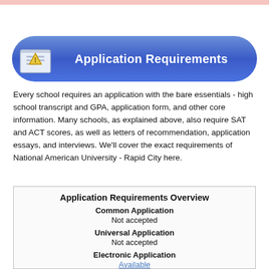Application Requirements
Every school requires an application with the bare essentials - high school transcript and GPA, application form, and other core information. Many schools, as explained above, also require SAT and ACT scores, as well as letters of recommendation, application essays, and interviews. We'll cover the exact requirements of National American University - Rapid City here.
| Application Requirements Overview |
| --- |
| Common Application | Not accepted |
| Universal Application | Not accepted |
| Electronic Application | Available |
| Essay or Personal Statement |  |